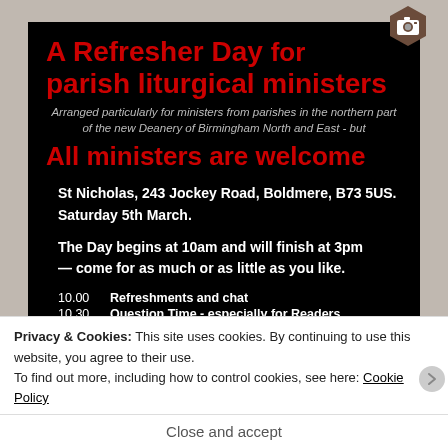[Figure (screenshot): Camera icon hexagon badge in top right corner]
A Refresher Day for parish liturgical ministers
Arranged particularly for ministers from parishes in the northern part of the new Deanery of Birmingham North and East - but
All ministers are welcome
St Nicholas, 243 Jockey Road, Boldmere, B73 5US.
Saturday 5th March.
The Day begins at 10am and will finish at 3pm — come for as much or as little as you like.
10.00   Refreshments and chat
10.30   Question Time - especially for Readers and Musicians
Privacy & Cookies: This site uses cookies. By continuing to use this website, you agree to their use.
To find out more, including how to control cookies, see here: Cookie Policy
Close and accept